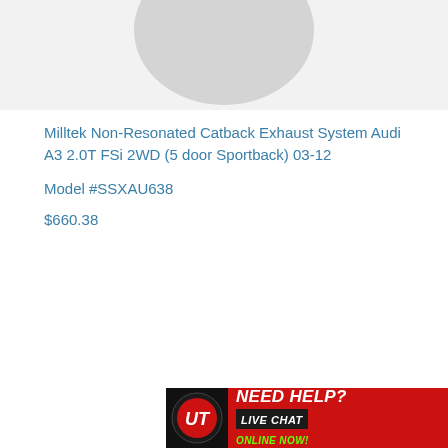[Figure (photo): Partial product image (gray circular cropped shape at top of page, likely exhaust system product photo)]
Milltek Non-Resonated Catback Exhaust System Audi A3 2.0T FSi 2WD (5 door Sportback) 03-12
Model #SSXAU638
$660.38
[Figure (logo): UT logo circle with red 'NEED HELP? LIVE CHAT ONLINE NOW!' banner in bottom right corner]